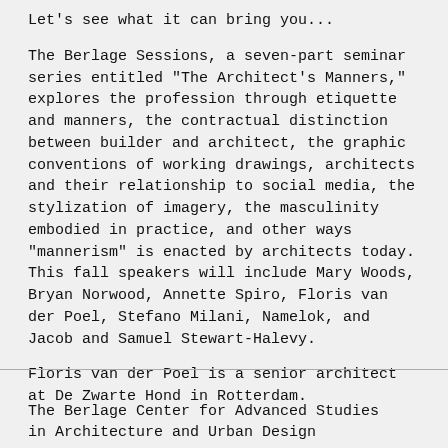Let's see what it can bring you...
The Berlage Sessions, a seven-part seminar series entitled "The Architect's Manners," explores the profession through etiquette and manners, the contractual distinction between builder and architect, the graphic conventions of working drawings, architects and their relationship to social media, the stylization of imagery, the masculinity embodied in practice, and other ways "mannerism" is enacted by architects today. This fall speakers will include Mary Woods, Bryan Norwood, Annette Spiro, Floris van der Poel, Stefano Milani, Namelok, and Jacob and Samuel Stewart-Halevy.
Floris van der Poel is a senior architect at De Zwarte Hond in Rotterdam.
The Berlage Center for Advanced Studies in Architecture and Urban Design